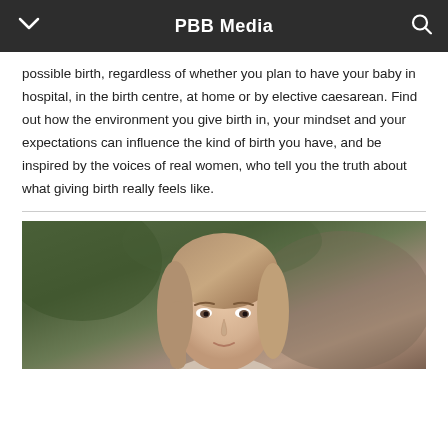PBB Media
possible birth, regardless of whether you plan to have your baby in hospital, in the birth centre, at home or by elective caesarean. Find out how the environment you give birth in, your mindset and your expectations can influence the kind of birth you have, and be inspired by the voices of real women, who tell you the truth about what giving birth really feels like.
[Figure (photo): Portrait photograph of a woman with straight light brown hair, photographed outdoors with a blurred green and brown background. The photo is cropped at approximately shoulder level.]